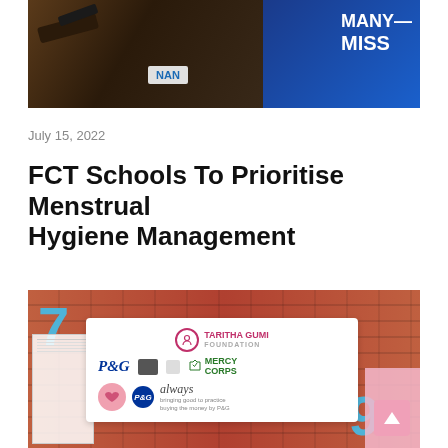[Figure (photo): A person being interviewed with a NAN microphone, wearing a black patterned outfit. Blue banner visible in background with text 'MANY MISS'.]
July 15, 2022
FCT Schools To Prioritise Menstrual Hygiene Management
[Figure (photo): A sign board showing logos of Taritha Gumi Foundation, P&G, Mercy Corps, and Always brand, set against a brick wall background with large blue numbers 7 and 9 visible.]